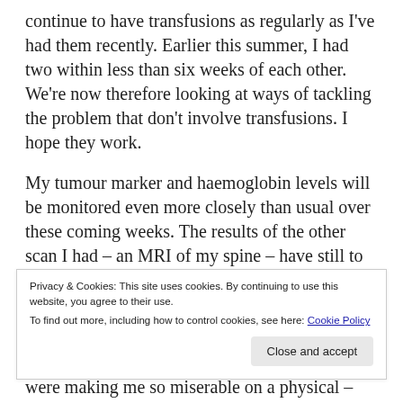continue to have transfusions as regularly as I've had them recently. Earlier this summer, I had two within less than six weeks of each other. We're now therefore looking at ways of tackling the problem that don't involve transfusions. I hope they work.
My tumour marker and haemoglobin levels will be monitored even more closely than usual over these coming weeks. The results of the other scan I had – an MRI of my spine – have still to come through. I should get those next
Privacy & Cookies: This site uses cookies. By continuing to use this website, you agree to their use.
To find out more, including how to control cookies, see here: Cookie Policy
were making me so miserable on a physical –